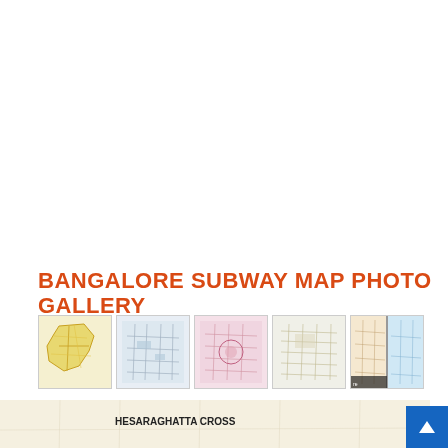BANGALORE SUBWAY MAP PHOTO GALLERY
[Figure (map): Thumbnail gallery of 5 Bangalore subway/city maps displayed in a horizontal row]
[Figure (map): Partial metro/subway map showing station labels: HESARAGHATTA CROSS, T. DASARAHALLI, JALAHALLI, PEENYA INDUSTRIAL AREA, PEENYA VILLAGE, with teal line and black dots]